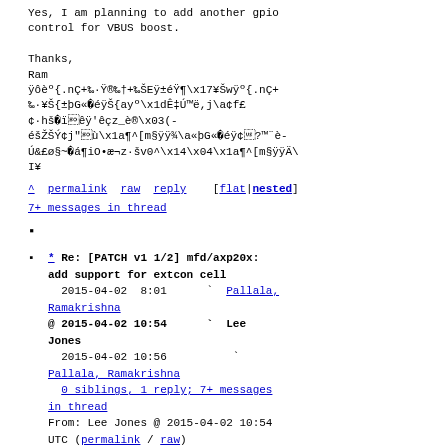Yes, I am planning to add another gpio
control for VBUS boost.

Thanks,
Ram
ÿôèº{.nÇ+‰·Ÿ®‰†+‰ŠEÿ±éŸ¶\x17¥Šwÿº{.nÇ+
‰·¥Š{±þG« éÿŠ{ayº\x1dÊ†Ú™ë,j\a¢f£
¢·hš ïêÿ'êçz_è®\x03(-
éšŽŠÝ¢j"ù\x1a¶^[m§ÿÿ¾\a«þG« éÿ¢?™¨è-
Ú&£ø§~ á¶iO•æ¬z·šv0^\x14\x04\x1a¶^[m§ÿÿÄ\
I¥
^ permalink raw reply    [flat|nested]
7+ messages in thread
* Re: [PATCH v1 1/2] mfd/axp20x: add support for extcon cell
2015-04-02  8:01       ` Pallala, Ramakrishna
@ 2015-04-02 10:54       ` Lee Jones
  2015-04-02 10:56         ` Pallala, Ramakrishna
  0 siblings, 1 reply; 7+ messages in thread
From: Lee Jones @ 2015-04-02 10:54 UTC (permalink / raw)
To: Pallala, Ramakrishna